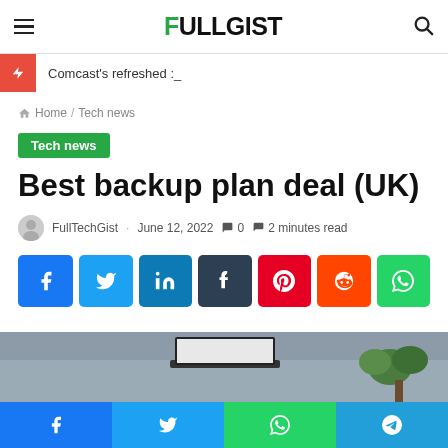FULLGIST
Comcast's refreshed :_
Home / Tech news
Tech news
Best backup plan deal (UK)
FullTechGist · June 12, 2022  0  2 minutes read
[Figure (other): Social share buttons: Facebook, Twitter, LinkedIn, Tumblr, Pinterest, Reddit, WhatsApp]
[Figure (photo): Photo of a laptop on a wooden desk with a plant in the background]
Bottom share bar: Facebook, Twitter, WhatsApp, Telegram